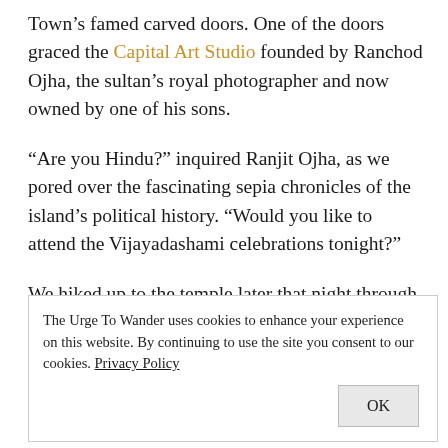Town's famed carved doors. One of the doors graced the Capital Art Studio founded by Ranchod Ojha, the sultan's royal photographer and now owned by one of his sons.
“Are you Hindu?” inquired Ranjit Ojha, as we pored over the fascinating sepia chronicles of the island’s political history. “Would you like to attend the Vijayadashami celebrations tonight?”
We hiked up to the temple later that night through hushed, dark alleys accompanied by the lilting muezzin calls of “God is Great”. We hoped to capture a colourful
The Urge To Wander uses cookies to enhance your experience on this website. By continuing to use the site you consent to our cookies. Privacy Policy